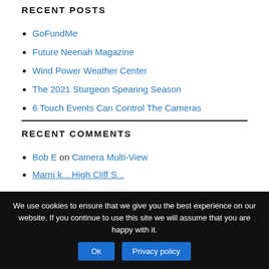RECENT POSTS
GoFundMe
Future Neenah Magazine
Wind Power Weather Center
The 2021 Sturgeon Spearing Season
6 Touch Events Can Control The Cameras
RECENT COMMENTS
Bob E on Camera Multi-View
We use cookies to ensure that we give you the best experience on our website. If you continue to use this site we will assume that you are happy with it.
Ok | Privacy policy